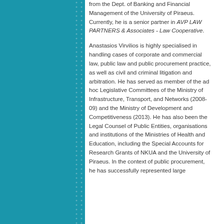from the Dept. of Banking and Financial Management of the University of Piraeus. Currently, he is a senior partner in AVP LAW PARTNERS & Associates - Law Cooperative.
Anastasios Virvilios is highly specialised in handling cases of corporate and commercial law, public law and public procurement practice, as well as civil and criminal litigation and arbitration. He has served as member of the ad hoc Legislative Committees of the Ministry of Infrastructure, Transport, and Networks (2008-09) and the Ministry of Development and Competitiveness (2013). He has also been the Legal Counsel of Public Entities, organisations and institutions of the Ministries of Health and Education, including the Special Accounts for Research Grants of NKUA and the University of Piraeus. In the context of public procurement, he has successfully represented large